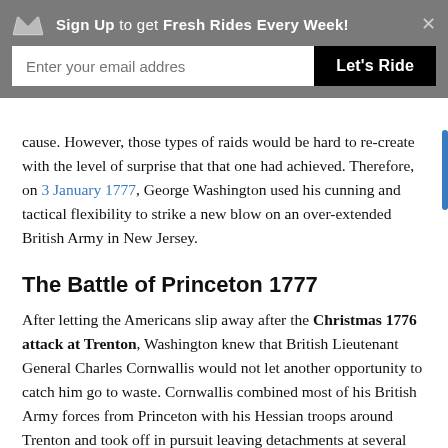Sign Up to get Fresh Rides Every Week! [email input: Enter your email addres] [Let's Ride button] [x close]
cause. However, those types of raids would be hard to re-create with the level of surprise that that one had achieved. Therefore, on 3 January 1777, George Washington used his cunning and tactical flexibility to strike a new blow on an over-extended British Army in New Jersey.
The Battle of Princeton 1777
After letting the Americans slip away after the Christmas 1776 attack at Trenton, Washington knew that British Lieutenant General Charles Cornwallis would not let another opportunity to catch him go to waste. Cornwallis combined most of his British Army forces from Princeton with his Hessian troops around Trenton and took off in pursuit leaving detachments at several locations. On 2 January, Washington had